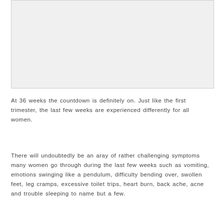[Figure (photo): Image placeholder area at top of page, light gray background]
At 36 weeks the countdown is definitely on. Just like the first trimester, the last few weeks are experienced differently for all women.
There will undoubtedly be an aray of rather challenging symptoms many women go through during the last few weeks such as vomiting, emotions swinging like a pendulum, difficulty bending over, swollen feet, leg cramps, excessive toilet trips, heart burn, back ache, acne and trouble sleeping to name but a few.